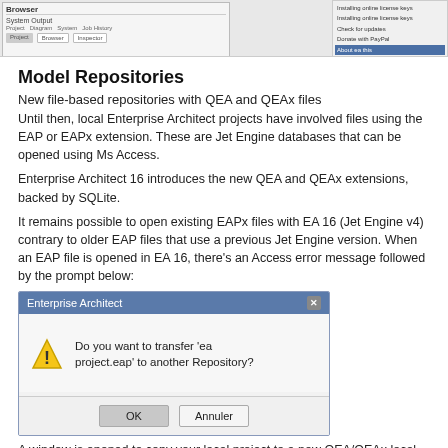[Figure (screenshot): Screenshot of Enterprise Architect IDE showing Browser panel and System Output panel with a dropdown menu visible on the right side]
Model Repositories
New file-based repositories with QEA and QEAx files
Until then, local Enterprise Architect projects have involved files using the EAP or EAPx extension. These are Jet Engine databases that can be opened using Ms Access.
Enterprise Architect 16 introduces the new QEA and QEAx extensions, backed by SQLite.
It remains possible to open existing EAPx files with EA 16 (Jet Engine v4) contrary to older EAP files that use a previous Jet Engine version. When an EAP file is opened in EA 16, there's an Access error message followed by the prompt below:
[Figure (screenshot): Enterprise Architect dialog box asking 'Do you want to transfer 'ea project.eap' to another Repository?' with OK and Annuler buttons]
A window is opened to copy your local project to a new QEA/QEAx local file or an existing centralized database.